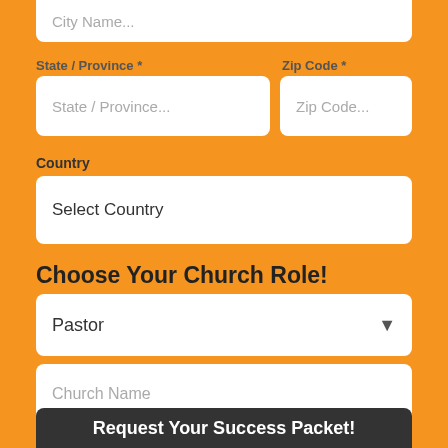City Name...
State / Province *
State / Province...
Zip Code *
Zip Code...
Country
Select Country
Choose Your Church Role!
Pastor
Church Name
Request Your Success Packet!